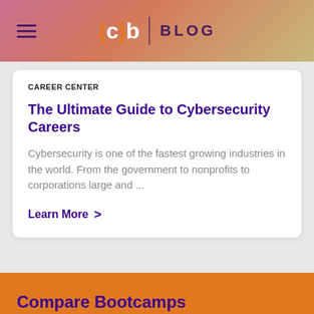{c}b BLOG
CAREER CENTER
The Ultimate Guide to Cybersecurity Careers
Cybersecurity is one of the fastest growing industries in the world. From the government to nonprofits to corporations large and ...
Learn More >
Compare Bootcamps
Coding Bootcamps
Cybersecurity Bootcamps
Data Analytics Bootcamps